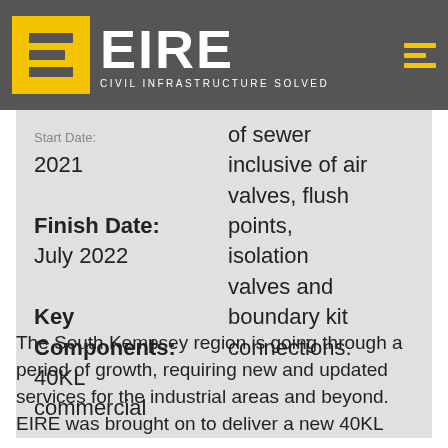EIRE — CIVIL INFRASTRUCTURE SOLVED
Start Date: 2021
Finish Date: July 2022
Key Components: 40KL commercial | of sewer inclusive of air valves, flush points, isolation valves and boundary kit connections.
The South Kempsey region is going through a period of growth, requiring new and updated services for the industrial areas and beyond. EIRE was brought on to deliver a new 40KL